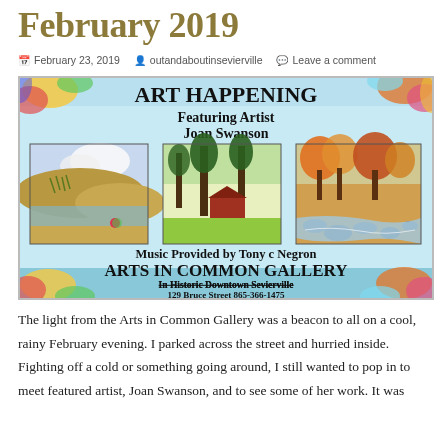February 2019
February 23, 2019   outandaboutinsevierville   Leave a comment
[Figure (illustration): Art Happening event flyer for Arts in Common Gallery featuring artist Joan Swanson, with three landscape paintings, music by Tony c Negron, located at 129 Bruce Street, Historic Downtown Sevierville, 865-366-1475]
The light from the Arts in Common Gallery was a beacon to all on a cool, rainy February evening. I parked across the street and hurried inside. Fighting off a cold or something going around, I still wanted to pop in to meet featured artist, Joan Swanson, and to see some of her work. It was